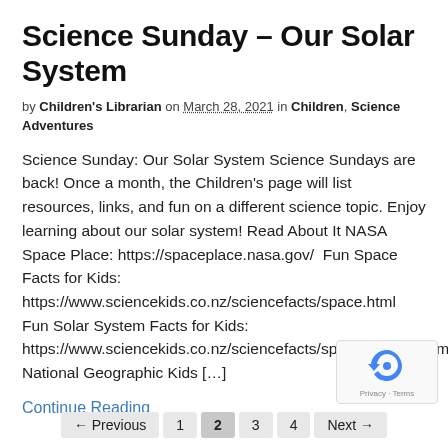Science Sunday – Our Solar System
by Children's Librarian on March 28, 2021 in Children, Science Adventures
Science Sunday: Our Solar System Science Sundays are back! Once a month, the Children's page will list resources, links, and fun on a different science topic. Enjoy learning about our solar system! Read About It NASA Space Place: https://spaceplace.nasa.gov/  Fun Space Facts for Kids: https://www.sciencekids.co.nz/sciencefacts/space.html  Fun Solar System Facts for Kids: https://www.sciencekids.co.nz/sciencefacts/space/solarsystem.html  National Geographic Kids […]
Continue Reading
← Previous  1  2  3  4  Next →